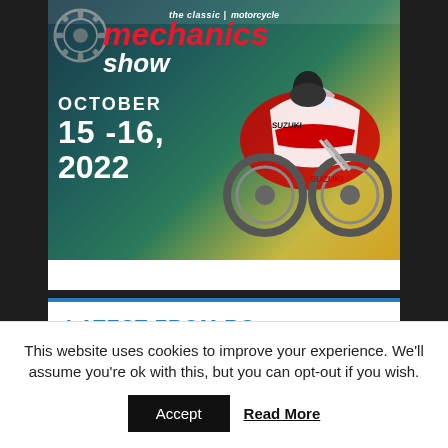[Figure (illustration): Advertisement banner for 'The Classic Motorcycle Mechanics Show' featuring a red and white Suzuki motorcycle, dated October 15-16, 2022, with a dark teal/gradient background and gear graphic.]
LATEST FROM RC
This website uses cookies to improve your experience. We'll assume you're ok with this, but you can opt-out if you wish.
Accept   Read More